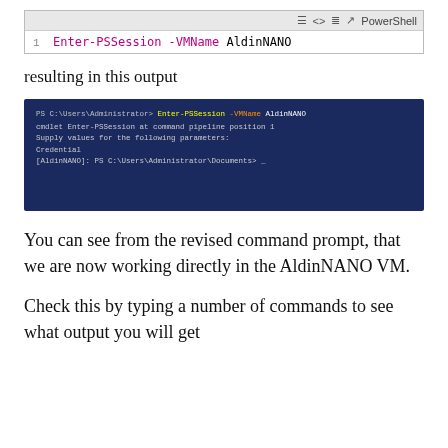[Figure (screenshot): PowerShell code block showing: Enter-PSSession -VMName AldinNANO]
resulting in this output
[Figure (screenshot): PowerShell terminal screenshot showing Enter-PSSession -VMName AldinNANO command with output: cmdlet Enter-PSSession at command pipeline position 1, Supply values for the following parameters:, Credential, [AldinNANO]: PS C:\Users\Administrator\Documents> _]
You can see from the revised command prompt, that we are now working directly in the AldinNANO VM.
Check this by typing a number of commands to see what output you will get